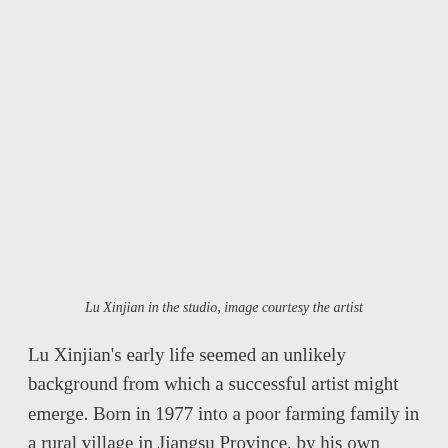Lu Xinjian in the studio, image courtesy the artist
Lu Xinjian's early life seemed an unlikely background from which a successful artist might emerge. Born in 1977 into a poor farming family in a rural village in Jiangsu Province, by his own account his childhood was spent running wild